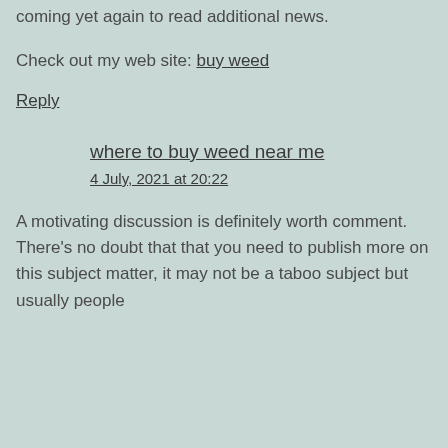coming yet again to read additional news.
Check out my web site: buy weed
Reply
where to buy weed near me
4 July, 2021 at 20:22
A motivating discussion is definitely worth comment. There's no doubt that that you need to publish more on this subject matter, it may not be a taboo subject but usually people